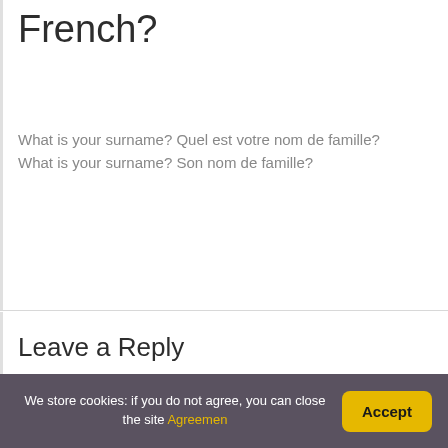French?
What is your surname? Quel est votre nom de famille? What is your surname? Son nom de famille?
Leave a Reply
Your email address will not be published. Required fields are marked *
Message
We store cookies: if you do not agree, you can close the site Agreemen Accept